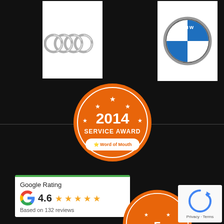[Figure (logo): Audi four-rings logo on white square background]
[Figure (logo): BMW roundel logo on white square background]
[Figure (other): 2014 Service Award badge - orange circular badge with stars and 'Word of Mouth' branding]
[Figure (other): Google Rating widget showing 4.6 stars based on 132 reviews]
[Figure (other): 2015 Service Award badge (partially visible) - orange circular badge with 'SERVICE AWARD' text and 'Word of Mouth' branding]
[Figure (other): Google reCAPTCHA widget with Privacy and Terms links]